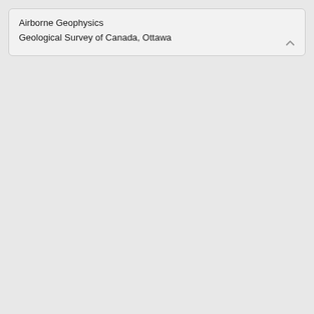Airborne Geophysics
Geological Survey of Canada, Ottawa